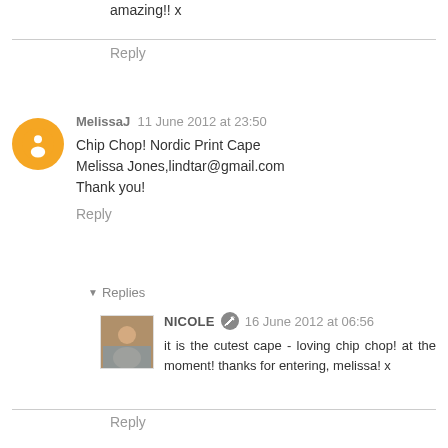amazing!! x
Reply
MelissaJ 11 June 2012 at 23:50
Chip Chop! Nordic Print Cape
Melissa Jones,lindtar@gmail.com
Thank you!
Reply
Replies
NICOLE 16 June 2012 at 06:56
it is the cutest cape - loving chip chop! at the moment! thanks for entering, melissa! x
Reply